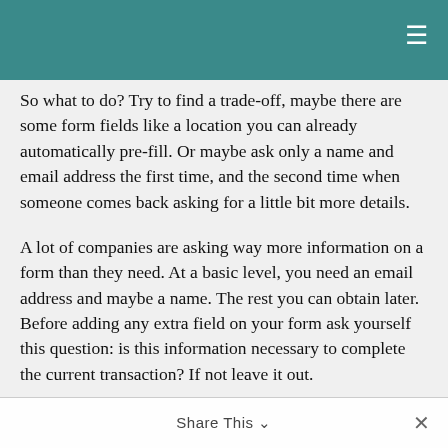So what to do? Try to find a trade-off, maybe there are some form fields like a location you can already automatically pre-fill. Or maybe ask only a name and email address the first time, and the second time when someone comes back asking for a little bit more details.
A lot of companies are asking way more information on a form than they need. At a basic level, you need an email address and maybe a name. The rest you can obtain later. Before adding any extra field on your form ask yourself this question: is this information necessary to complete the current transaction? If not leave it out.
There you go, the ten biggest mistakes you could be making on your landing pages that are killing your conversions. And now you know, there is no excuse
Share This